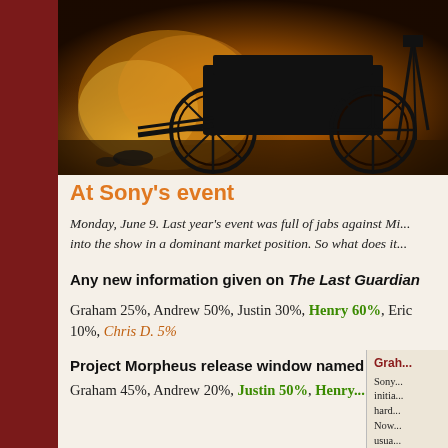[Figure (photo): Silhouette photo of a horse-drawn carriage or wagon against a warm golden/orange fire-lit background]
At Sony's event
Monday, June 9. Last year's event was full of jabs against Mi... into the show in a dominant market position. So what does it...
Any new information given on The Last Guardian
Graham 25%, Andrew 50%, Justin 30%, Henry 60%, Eric 10%, Chris D. 5%
Project Morpheus release window named
Graham 45%, Andrew 20%, Justin 50%, Henry...
Grah... Sony... initia... hard... Now... usua...